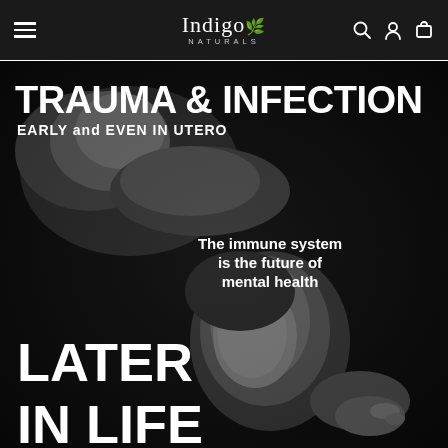Indigo Naturals — navigation header
[Figure (photo): Black and white photograph of a person bending their head back dramatically, with overlaid bold text reading: TRAUMA & INFECTION / EARLY and EVEN IN UTERO / The immune system is the future of mental health / LATER IN LIFE]